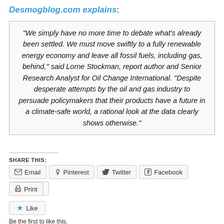Desmogblog.com explains:
“We simply have no more time to debate what’s already been settled. We must move swiftly to a fully renewable energy economy and leave all fossil fuels, including gas, behind,” said Lorne Stockman, report author and Senior Research Analyst for Oil Change International. “Despite desperate attempts by the oil and gas industry to persuade policymakers that their products have a future in a climate-safe world, a rational look at the data clearly shows otherwise.”
SHARE THIS:
Email
Pinterest
Twitter
Facebook
Reddit
Print
Like
Be the first to like this.